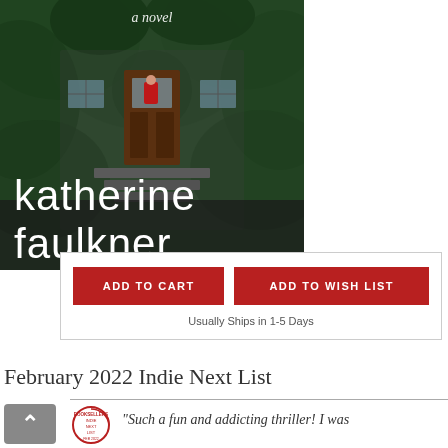[Figure (photo): Book cover for a novel by Katherine Faulkner. Shows a stone house covered in ivy with a woman in red visible through a wooden doorway. Text 'a novel' in italic at top, author name 'katherine faulkner' in large white sans-serif font over the lower portion of the cover.]
ADD TO CART
ADD TO WISH LIST
Usually Ships in 1-5 Days
February 2022 Indie Next List
“Such a fun and addicting thriller! I was